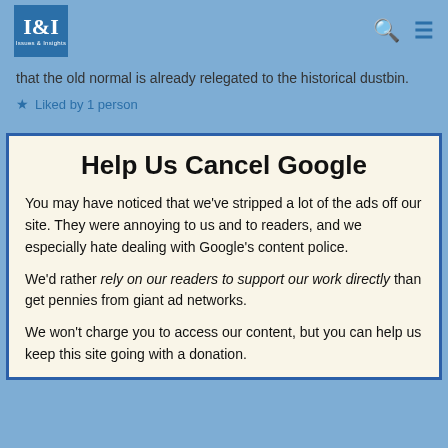I&I Issues & Insights
that the old normal is already relegated to the historical dustbin.
Liked by 1 person
Help Us Cancel Google
You may have noticed that we've stripped a lot of the ads off our site. They were annoying to us and to readers, and we especially hate dealing with Google's content police.
We'd rather rely on our readers to support our work directly than get pennies from giant ad networks.
We won't charge you to access our content, but you can help us keep this site going with a donation.